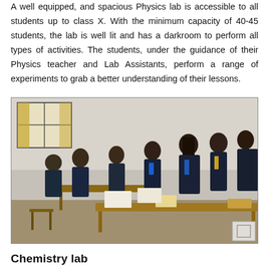A well equipped, and spacious Physics lab is accessible to all students up to class X. With the minimum capacity of 40-45 students, the lab is well lit and has a darkroom to perform all types of activities. The students, under the guidance of their Physics teacher and Lab Assistants, perform a range of experiments to grab a better understanding of their lessons.
[Figure (photo): Students in school uniforms (dark blazers) leaning over wooden desks writing in what appears to be a classroom or lab setting. A window with yellow curtains is visible in the background.]
Chemistry lab